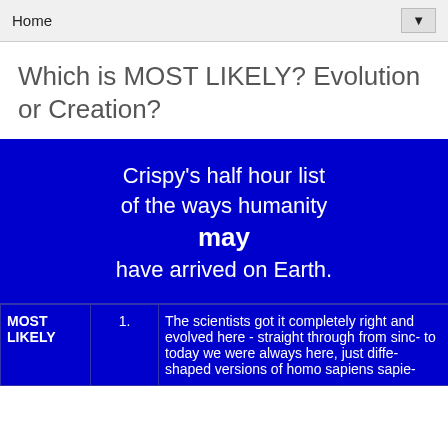Home ▼
Which is MOST LIKELY? Evolution or Creation?
[Figure (other): Blue banner with text: Crispy's half hour list of the ways humanity may have arrived on Earth.]
| MOST LIKELY |  | Description |
| --- | --- | --- |
| MOST LIKELY | 1. | The scientists got it completely right and evolved here - straight through from sin- to today we were always here, just diffe- shaped versions of homo sapiens sapie- |